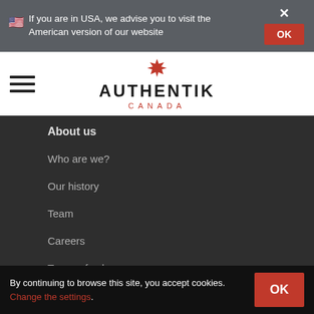🇺🇸 If you are in USA, we advise you to visit the American version of our website
[Figure (logo): Authentik Canada logo with maple leaf and hamburger menu icon]
About us
Who are we?
Our history
Team
Careers
Terms of sale
Affiliate program
Privacy policy
By continuing to browse this site, you accept cookies. Change the settings.